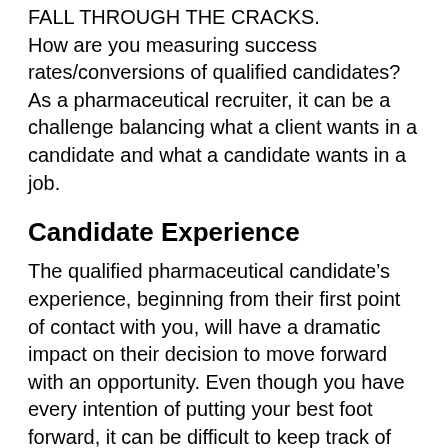FALL THROUGH THE CRACKS. How are you measuring success rates/conversions of qualified candidates? As a pharmaceutical recruiter, it can be a challenge balancing what a client wants in a candidate and what a candidate wants in a job.
Candidate Experience
The qualified pharmaceutical candidate’s experience, beginning from their first point of contact with you, will have a dramatic impact on their decision to move forward with an opportunity. Even though you have every intention of putting your best foot forward, it can be difficult to keep track of candidates.
Mobile Friendly
If your firm is not mobile friendly, you